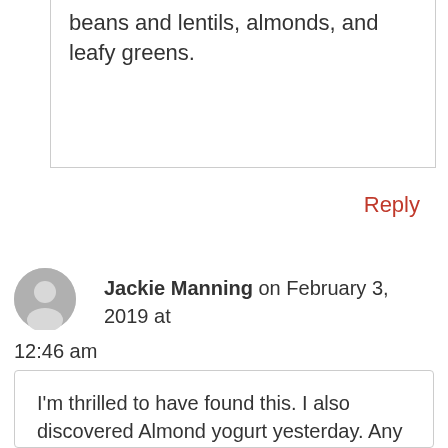beans and lentils, almonds, and leafy greens.
Reply
Jackie Manning on February 3, 2019 at 12:46 am
I'm thrilled to have found this. I also discovered Almond yogurt yesterday. Any insight on teas? I'm finding I have fewer beverage options and have been drinking watered down herbals (licorice, linden leaf).